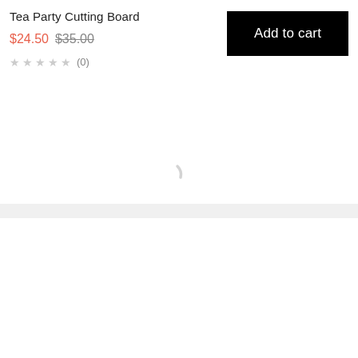Tea Party Cutting Board
$24.50 $35.00
★★★★★ (0)
Add to cart
[Figure (other): Partial image of a product (Tea Party Cutting Board), showing only a small curved grey shape visible in upper center area, rest of image is white/loading]